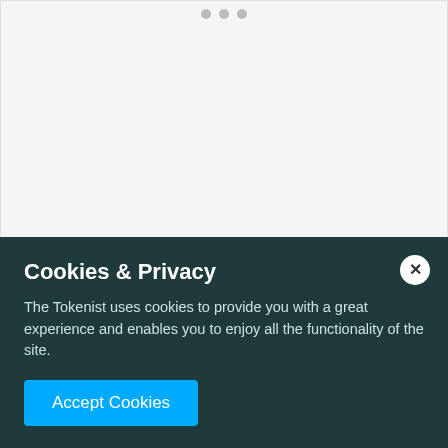[Figure (other): Gray placeholder image area with three dots at the top indicating a carousel or slideshow]
Though UK customers were not very happy with the mishap, they have the best position out of all Plus500's clients, as they get the highest protection in case the company goes bust, as well
Cookies & Privacy
The Tokenist uses cookies to provide you with a great experience and enables you to enjoy all the functionality of the site.
Accept Cookies